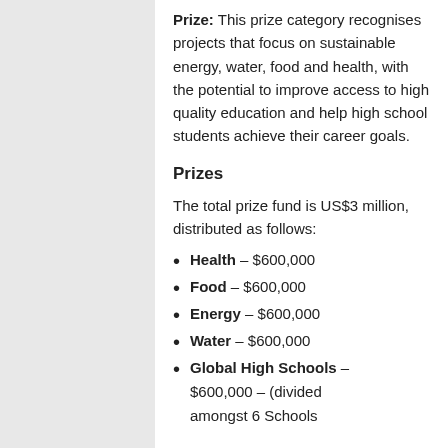Prize: This prize category recognises projects that focus on sustainable energy, water, food and health, with the potential to improve access to high quality education and help high school students achieve their career goals.
Prizes
The total prize fund is US$3 million, distributed as follows:
Health – $600,000
Food – $600,000
Energy – $600,000
Water – $600,000
Global High Schools – $600,000 – (divided amongst 6 Schools